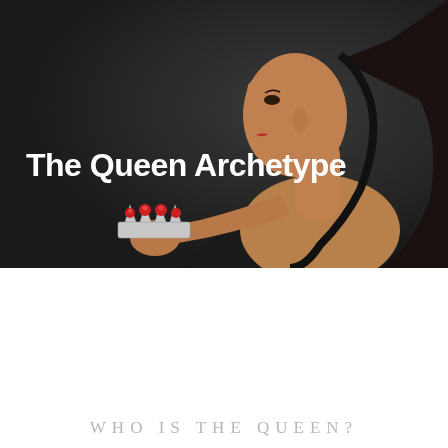[Figure (photo): A woman in profile view with dark hair and an off-shoulder black sparkly outfit, holding a jeweled crown with red gemstones up in her outstretched hand, on a dark grey background. Text overlay reads 'The Queen Archetype' in bold white.]
The Queen Archetype
WHO IS THE QUEEN?